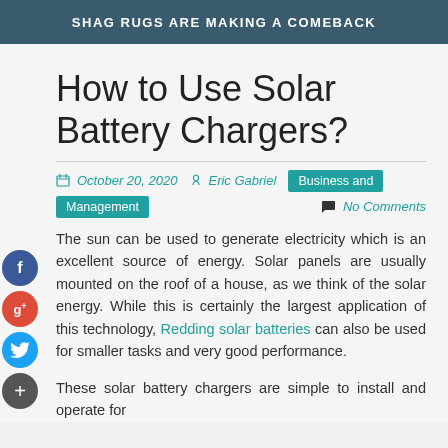SHAG RUGS ARE MAKING A COMEBACK
How to Use Solar Battery Chargers?
October 20, 2020   Eric Gabriel   Business and Management   No Comments
The sun can be used to generate electricity which is an excellent source of energy. Solar panels are usually mounted on the roof of a house, as we think of the solar energy. While this is certainly the largest application of this technology, Redding solar batteries can also be used for smaller tasks and very good performance.
These solar battery chargers are simple to install and operate for